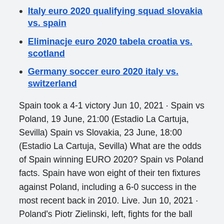Italy euro 2020 qualifying squad slovakia vs. spain
Eliminacje euro 2020 tabela croatia vs. scotland
Germany soccer euro 2020 italy vs. switzerland
Spain took a 4-1 victory Jun 10, 2021 · Spain vs Poland, 19 June, 21:00 (Estadio La Cartuja, Sevilla) Spain vs Slovakia, 23 June, 18:00 (Estadio La Cartuja, Sevilla) What are the odds of Spain winning EURO 2020? Spain vs Poland facts. Spain have won eight of their ten fixtures against Poland, including a 6-0 success in the most recent back in 2010. Live. Jun 10, 2021 · Poland's Piotr Zielinski, left, fights for the ball during a UEFA Euro 2020 qualifying match against Slovenia. Poland vs Spain, 19 June, 21:00 (Estadio La Cartuja, Sevilla) Nov 03, 2020 · Spain at Euro 2020. Spain outperformed the